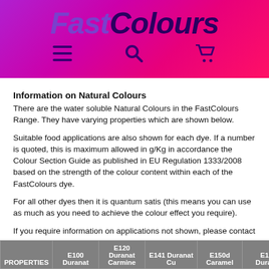FastColours
Information on Natural Colours
There are the water soluble Natural Colours in the FastColours Range. They have varying properties which are shown below.
Suitable food applications are also shown for each dye. If a number is quoted, this is maximum allowed in g/Kg in accordance the Colour Section Guide as published in EU Regulation 1333/2008 based on the strength of the colour content within each of the FastColours dye.
For all other dyes then it is quantum satis (this means you can use as much as you need to achieve the colour effect you require).
If you require information on applications not shown, please contact us.
| PROPERTIES | E100 Duranat | E120 Duranat Carmine | E141 Duranat Cu | E150d | E160 Duran... |
| --- | --- | --- | --- | --- | --- |